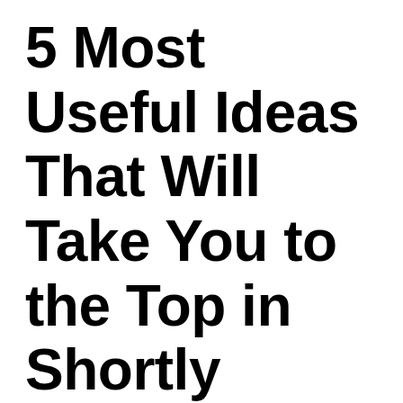5 Most Useful Ideas That Will Take You to the Top in Shortly